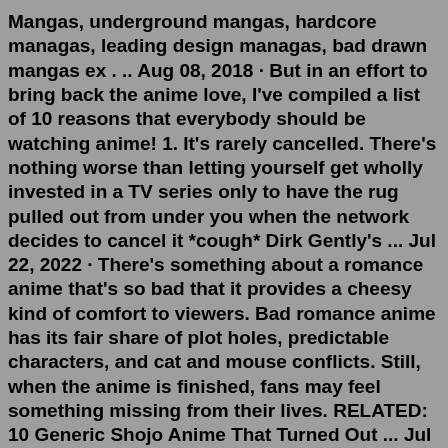Mangas, underground mangas, hardcore managas, leading design managas, bad drawn mangas ex . .. Aug 08, 2018 · But in an effort to bring back the anime love, I've compiled a list of 10 reasons that everybody should be watching anime! 1. It's rarely cancelled. There's nothing worse than letting yourself get wholly invested in a TV series only to have the rug pulled out from under you when the network decides to cancel it *cough* Dirk Gently's ... Jul 22, 2022 · There's something about a romance anime that's so bad that it provides a cheesy kind of comfort to viewers. Bad romance anime has its fair share of plot holes, predictable characters, and cat and mouse conflicts. Still, when the anime is finished, fans may feel something missing from their lives. RELATED: 10 Generic Shojo Anime That Turned Out ... Jul 28, 2021 · Anime refers to a specific style of cartoon produced or inspired by Japanese animation. Think of it this way: all anime shows are cartoons, but not all cartoons are anime. The art style associated with